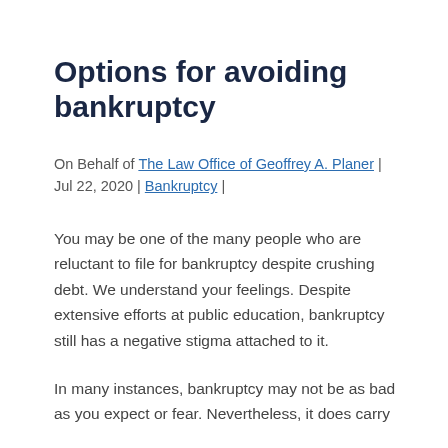Options for avoiding bankruptcy
On Behalf of The Law Office of Geoffrey A. Planer | Jul 22, 2020 | Bankruptcy |
You may be one of the many people who are reluctant to file for bankruptcy despite crushing debt. We understand your feelings. Despite extensive efforts at public education, bankruptcy still has a negative stigma attached to it.
In many instances, bankruptcy may not be as bad as you expect or fear. Nevertheless, it does carry